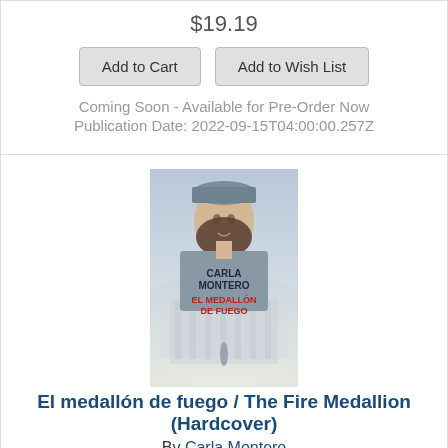$19.19
Add to Cart | Add to Wish List
Coming Soon - Available for Pre-Order Now
Publication Date: 2022-09-15T04:00:00.257Z
[Figure (photo): Book cover of 'El medallón de fuego / The Fire Medallion' by Carla Montero. Shows a woman in a grey hat against a misty background with a building. Title text in red reads 'EL MEDALLÓN DE FUEGO'.]
El medallón de fuego / The Fire Medallion (Hardcover)
By Carla Montero
$21.95
Add to Cart | Add to Wish List
Not in the store. We can order it and should have it in store in 3-5 business days.